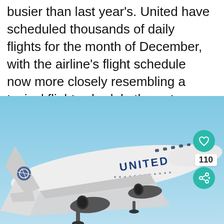busier than last year's. United have scheduled thousands of daily flights for the month of December, with the airline's flight schedule now more closely resembling a typical flight schedule than at any other time during the pandemic so far.
[Figure (photo): A United Airlines aircraft taking off against a clear blue sky, viewed from below and slightly to the side. The plane's fuselage shows 'UNITED' branding. Overlay UI elements include a teal heart button (like/favorite), a share count badge showing '110', and a teal share button.]